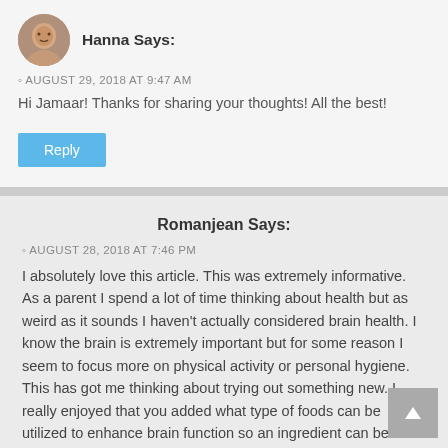Hanna Says:
AUGUST 29, 2018 AT 9:47 AM
Hi Jamaar! Thanks for sharing your thoughts! All the best!
Reply
Romanjean Says:
AUGUST 28, 2018 AT 7:46 PM
I absolutely love this article. This was extremely informative. As a parent I spend a lot of time thinking about health but as weird as it sounds I haven't actually considered brain health. I know the brain is extremely important but for some reason I seem to focus more on physical activity or personal hygiene. This has got me thinking about trying out something new. I really enjoyed that you added what type of foods can be utilized to enhance brain function so an ingredient can be added to the meal instead of purchasing a supplement. The supplement may be easier but I think experimenting with new ingredients with the kids will be more fun. Thank you for all the